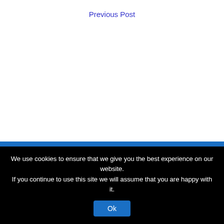Previous Post
We use cookies to ensure that we give you the best experience on our website. If you continue to use this site we will assume that you are happy with it.
Ok